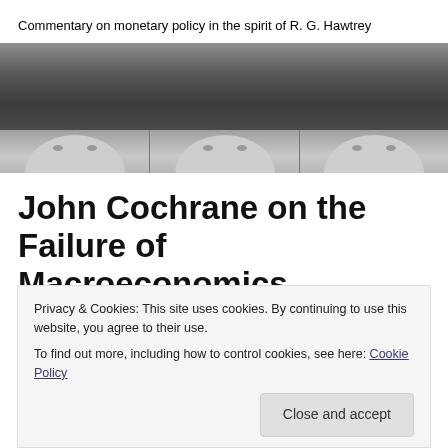Commentary on monetary policy in the spirit of R. G. Hawtrey
[Figure (photo): Dark gradient banner with repeating black-and-white portrait photos of a person across the bottom strip]
John Cochrane on the Failure of Macroeconomics
Privacy & Cookies: This site uses cookies. By continuing to use this website, you agree to their use.
To find out more, including how to control cookies, see here: Cookie Policy
Close and accept